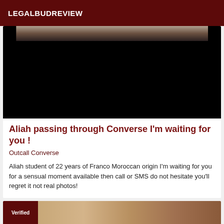LEGALBUDREVIEW
[Figure (photo): A partially visible photo at the top showing a person, mostly obscured by a large black area below]
Aliah passing through Converse I'm waiting for you !
Outcall Converse
Aliah student of 22 years of Franco Moroccan origin I'm waiting for you for a sensual moment available then call or SMS do not hesitate you'll regret it not real photos!
[Figure (photo): Bottom card with a dark red badge and a partial photo of a person smiling]